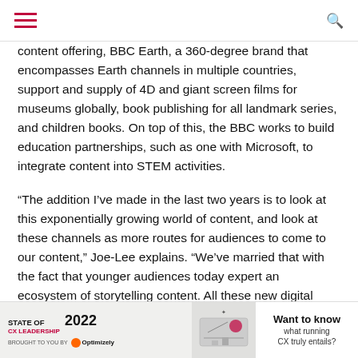[hamburger menu] [search icon]
content offering, BBC Earth, a 360-degree brand that encompasses Earth channels in multiple countries, support and supply of 4D and giant screen films for museums globally, book publishing for all landmark series, and children books. On top of this, the BBC works to build education partnerships, such as one with Microsoft, to integrate content into STEM activities.
“The addition I’ve made in the last two years is to look at this exponentially growing world of content, and look at these channels as more routes for audiences to come to our content,” Joe-Lee explains. “We’ve married that with the fact that younger audiences today expert an ecosystem of storytelling content. All these new digital video propositions, from short form and VR, are on their rise and now part of what audiences expect.”
Lee-Joe points to developing out immersive TV formats with Snap and Tencent. With Tencent, for example, the BBC develop… tent and app… it’s
[Figure (screenshot): Advertisement banner: STATE OF CX LEADERSHIP 2022 brought to you by Optimizely, with graphic illustration. Right side: 'Want to know what running CX truly entails?']